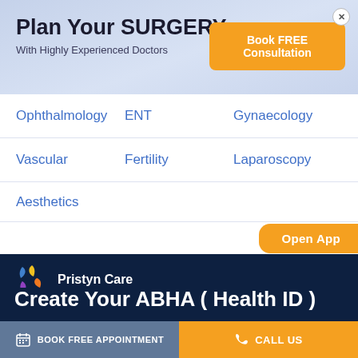Plan Your SURGERY
With Highly Experienced Doctors
Book FREE Consultation
Ophthalmology
ENT
Gynaecology
Vascular
Fertility
Laparoscopy
Aesthetics
Open App
[Figure (logo): Pristyn Care logo with colorful leaf/petals icon]
Pristyn Care
Create Your ABHA ( Health ID )
Manage your health records digitally !
BOOK FREE APPOINTMENT   CALL US